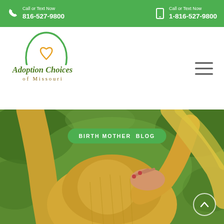Call or Text Now 816-527-9800 | Call or Text Now 1-816-527-9800
[Figure (logo): Adoption Choices of Missouri logo with green arch and orange heart]
[Figure (photo): Pregnant woman in yellow dress holding baby bump outdoors on green background, with BIRTH MOTHER BLOG pill button overlay]